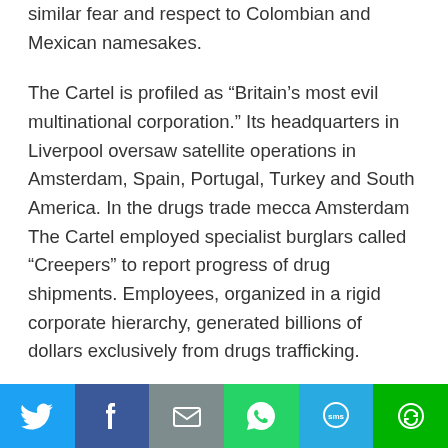similar fear and respect to Colombian and Mexican namesakes.
The Cartel is profiled as “Britain’s most evil multinational corporation.” Its headquarters in Liverpool oversaw satellite operations in Amsterdam, Spain, Portugal, Turkey and South America. In the drugs trade mecca Amsterdam The Cartel employed specialist burglars called “Creepers” to report progress of drug shipments. Employees, organized in a rigid corporate hierarchy, generated billions of dollars exclusively from drugs trafficking.
The criminal organization is managed by invisible godfathers who are wealthier than Virgin Atlantic’s billionaire owner. The Cartel’s tentacles extended from Mersey fog banks in northwest England to the city’s stock
[Figure (infographic): Social share bar with 6 buttons: Twitter (blue bird icon), Facebook (dark blue f icon), Email (grey envelope icon), WhatsApp (green phone icon), SMS (light blue SMS bubble icon), More (green circular arrow icon)]